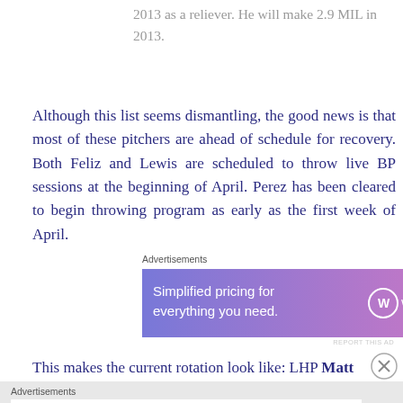2013 as a reliever. He will make 2.9 MIL in 2013.
Although this list seems dismantling, the good news is that most of these pitchers are ahead of schedule for recovery. Both Feliz and Lewis are scheduled to throw live BP sessions at the beginning of April. Perez has been cleared to begin throwing program as early as the first week of April.
Advertisements
[Figure (other): WordPress.com advertisement: Simplified pricing for everything you need.]
REPORT THIS AD
This makes the current rotation look like: LHP Matt
Advertisements
[Figure (other): Bloomingdale's advertisement: View Today's Top Deals! SHOP NOW >]